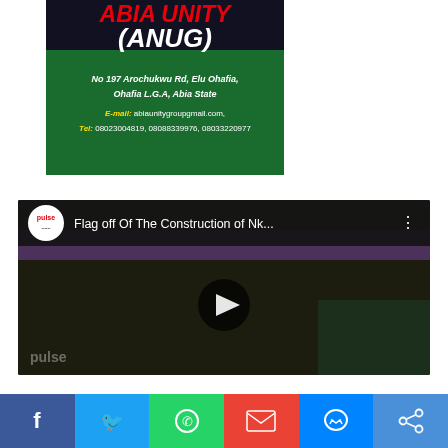[Figure (illustration): Advertisement banner for Abia Nigeria Unity Group (ANUG). Green and dark background with red and green text. Shows organization name, address at No 197 Arochukwu Rd, Elu Ohafia, Ohafia L.G.A, Abia State. Email: abiaunitygroupgmail.com. Tel: 08023004819, 08088339976, 08033220977]
[Figure (screenshot): YouTube video thumbnail showing 'Flag off Of The Construction of Nk...' with Pulse Nigeria logo. Shows two people at an event with purple draping in background. Play button visible in center.]
[Figure (infographic): Social media share bar with six buttons: Facebook (blue), Twitter (cyan), WhatsApp (green), Gmail (red), Messenger (blue), Share (blue)]